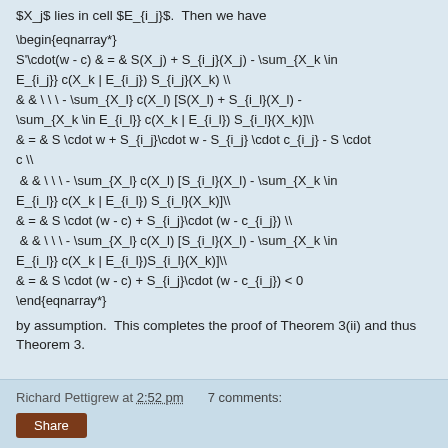$X_j$ lies in cell $E_{i_j}$.  Then we have
by assumption.  This completes the proof of Theorem 3(ii) and thus Theorem 3.
Richard Pettigrew at 2:52 pm   7 comments:  Share